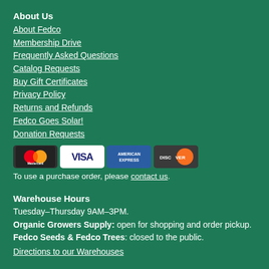About Us
About Fedco
Membership Drive
Frequently Asked Questions
Catalog Requests
Buy Gift Certificates
Privacy Policy
Returns and Refunds
Fedco Goes Solar!
Donation Requests
[Figure (illustration): Credit card logos: Mastercard, Visa, American Express, Discover]
To use a purchase order, please contact us.
Warehouse Hours
Tuesday–Thursday 9AM–3PM.
Organic Growers Supply: open for shopping and order pickup.
Fedco Seeds & Fedco Trees: closed to the public.
Directions to our Warehouses
Phone Hours
Monday–Friday from 9–5